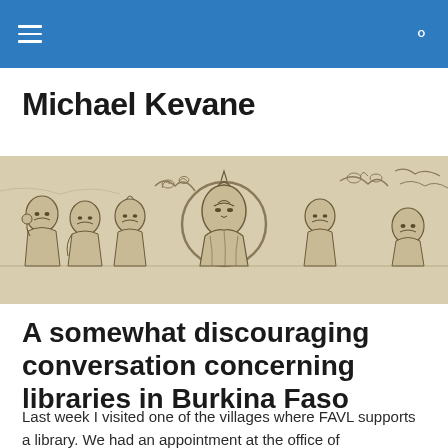Michael Kevane (site navigation bar with hamburger menu and search icon)
Michael Kevane
[Figure (illustration): A horizontal banner image showing a Buddhist-style ink drawing with multiple figures including a central Buddha figure with halo surrounded by other figures, rendered in a traditional East Asian style on a beige/tan background.]
A somewhat discouraging conversation concerning libraries in Burkina Faso
Last week I visited one of the villages where FAVL supports a library. We had an appointment at the office of